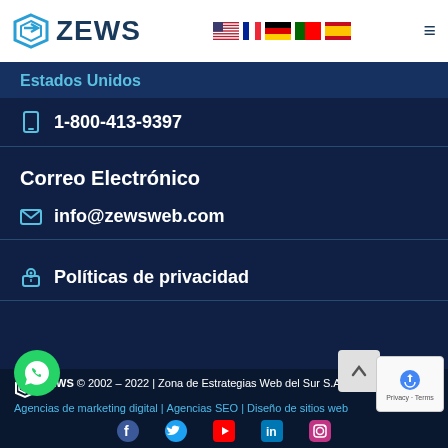ZEWS [logo] [flags] [menu]
Estados Unidos
1-800-413-9397
Correo Electrónico
info@zewsweb.com
Políticas de privacidad
ZEWS © 2002 – 2022 | Zona de Estrategias Web del Sur S.A. – Agencias de marketing digital | Agencias SEO | Diseño de sitios web